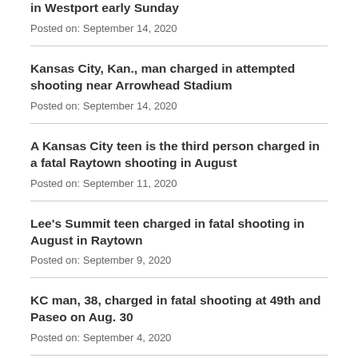in Westport early Sunday
Posted on: September 14, 2020
Kansas City, Kan., man charged in attempted shooting near Arrowhead Stadium
Posted on: September 14, 2020
A Kansas City teen is the third person charged in a fatal Raytown shooting in August
Posted on: September 11, 2020
Lee's Summit teen charged in fatal shooting in August in Raytown
Posted on: September 9, 2020
KC man, 38, charged in fatal shooting at 49th and Paseo on Aug. 30
Posted on: September 4, 2020
Second defendant charged in fatal shooting in Independence